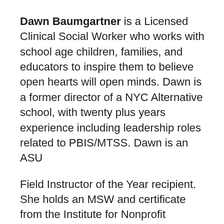Dawn Baumgartner is a Licensed Clinical Social Worker who works with school age children, families, and educators to inspire them to believe open hearts will open minds. Dawn is a former director of a NYC Alternative school, with twenty plus years experience including leadership roles related to PBIS/MTSS. Dawn is an ASU
Field Instructor of the Year recipient. She holds an MSW and certificate from the Institute for Nonprofit Management at Columbia University.